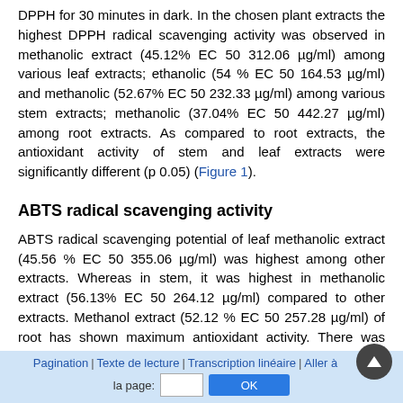DPPH for 30 minutes in dark. In the chosen plant extracts the highest DPPH radical scavenging activity was observed in methanolic extract (45.12% EC 50 312.06 µg/ml) among various leaf extracts; ethanolic (54 % EC 50 164.53 µg/ml) and methanolic (52.67% EC 50 232.33 µg/ml) among various stem extracts; methanolic (37.04% EC 50 442.27 µg/ml) among root extracts. As compared to root extracts, the antioxidant activity of stem and leaf extracts were significantly different (p 0.05) (Figure 1).
ABTS radical scavenging activity
ABTS radical scavenging potential of leaf methanolic extract (45.56 % EC 50 355.06 µg/ml) was highest among other extracts. Whereas in stem, it was highest in methanolic extract (56.13% EC 50 264.12 µg/ml) compared to other extracts. Methanol extract (52.12 % EC 50 257.28 µg/ml) of root has shown maximum antioxidant activity. There was significant difference in
Pagination | Texte de lecture | Transcription linéaire | Aller à la page: [input] OK